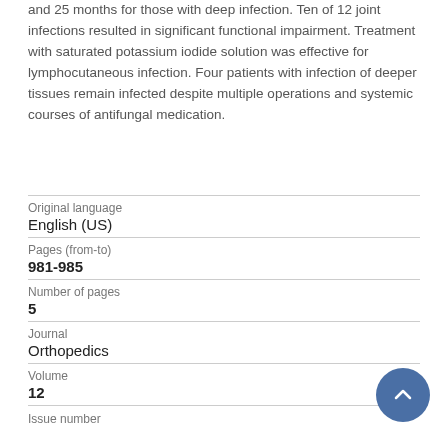and 25 months for those with deep infection. Ten of 12 joint infections resulted in significant functional impairment. Treatment with saturated potassium iodide solution was effective for lymphocutaneous infection. Four patients with infection of deeper tissues remain infected despite multiple operations and systemic courses of antifungal medication.
| Field | Value |
| --- | --- |
| Original language | English (US) |
| Pages (from-to) | 981-985 |
| Number of pages | 5 |
| Journal | Orthopedics |
| Volume | 12 |
| Issue number |  |